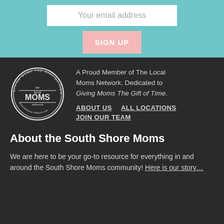Your email address
SIGN UP
[Figure (logo): The Local Moms Network circular logo with text 'GIVING MOMS THE GIFT OF TIME' around the border, 'the local MOMS network' in the center, and 'thelocalmoms-network.com' at the bottom.]
A Proud Member of The Local Moms Network. Dedicated to Giving Moms The Gift of Time.
ABOUT US   ALL LOCATIONS   JOIN OUR TEAM
About the South Shore Moms
We are here to be your go-to resource for everything in and around the South Shore Moms community! Here is our story…